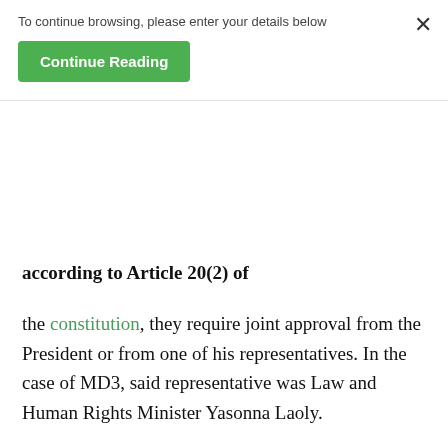To continue browsing, please enter your details below
Continue Reading
according to Article 20(2) of the constitution, they require joint approval from the President or from one of his representatives. In the case of MD3, said representative was Law and Human Rights Minister Yasonna Laoly.
New Mandala finds Jokowi's claim that Laoly did not report to him during the bill's deliberation as implausible. Laolywould be